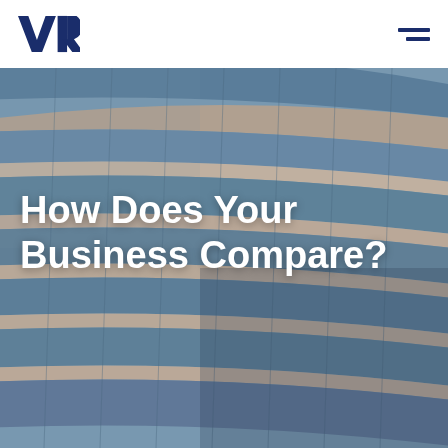VR logo and navigation menu
[Figure (photo): Curved modern glass office building facade photographed from below, showing horizontal bands of glass windows and concrete/beige framing strips curving upward, steel-blue and gray tones.]
How Does Your Business Compare?